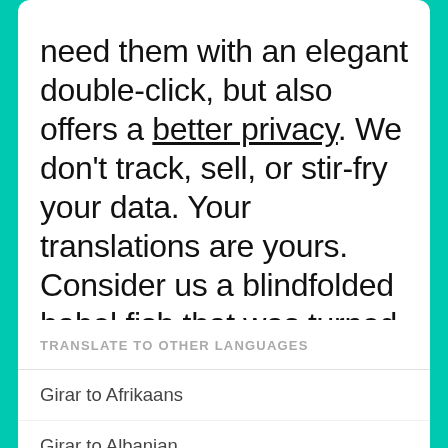need them with an elegant double-click, but also offers a better privacy. We don't track, sell, or stir-fry your data. Your translations are yours. Consider us a blindfolded babel fish that was turned into a bunch of beautiful apps to have your back with translations.
TRANSLATE TO OTHER LANGUAGES
Girar to Afrikaans
Girar to Albanian
Girar to Amharic